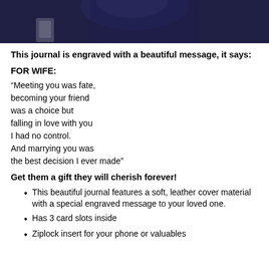[Figure (photo): Dark blue/navy photo of a person, cropped at bottom, showing upper portion of a figure in dark clothing]
This journal is engraved with a beautiful message, it says:
FOR WIFE:
“Meeting you was fate, becoming your friend was a choice but falling in love with you I had no control. And marrying you was the best decision I ever made”
Get them a gift they will cherish forever!
This beautiful journal features a soft, leather cover material with a special engraved message to your loved one.
Has 3 card slots inside
Ziplock insert for your phone or valuables